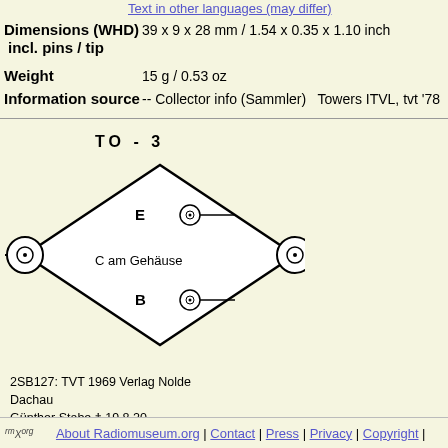Text in other languages (may differ)
Dimensions (WHD) incl. pins / tip	39 x 9 x 28 mm / 1.54 x 0.35 x 1.10 inch
Weight	15 g / 0.53 oz
Information source	-- Collector info (Sammler)   Towers ITVL, tvt '78
[Figure (engineering-diagram): TO-3 transistor pinout diagram showing diamond-shaped package with pins labeled E (emitter), B (base), and C am Gehäuse (collector at case)]
2SB127: TVT 1969 Verlag Nolde Dachau
Günther Stabe † 19.8.20
Usage in Models  1= 1969??
Quantity of Models at Radiomuseum.org with this tube (valve, valves, v válvula, lampe):  1
You reach this tube or valve page from a search after clicking the "tubes" tab will find thousands of tubes or valves with interesting links. You even can loo [rmxtube-en]
rmXorg  About Radiomuseum.org | Contact | Press | Privacy | Copyright |